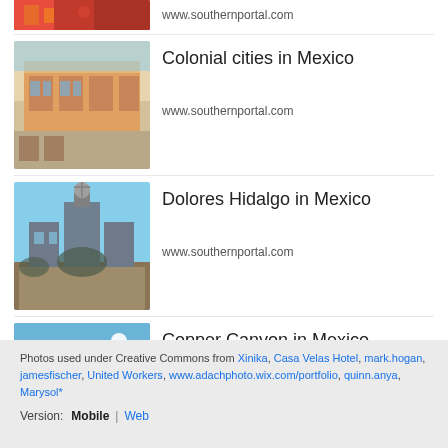www.southernportal.com
Colonial cities in Mexico
www.southernportal.com
Dolores Hidalgo in Mexico
www.southernportal.com
Copper Canyon in Mexico
www.southernportal.com
Sea of Cortez in Mexico
www.southernportal.com
AddThis
Photos used under Creative Commons from Xinika, Casa Velas Hotel, mark.hogan, jamesfischer, United Workers, www.adachphoto.wix.com/portfolio, quinn.anya, Marysol*
Version: Mobile | Web